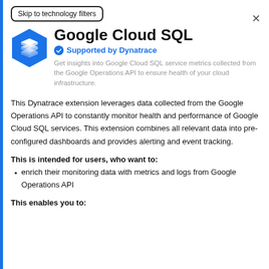Skip to technology filters
Google Cloud SQL
Supported by Dynatrace
Get insights into Google Cloud SQL service metrics collected from the Google Operations API to ensure health of your cloud infrastructure.
This Dynatrace extension leverages data collected from the Google Operations API to constantly monitor health and performance of Google Cloud SQL services. This extension combines all relevant data into pre-configured dashboards and provides alerting and event tracking.
This is intended for users, who want to:
enrich their monitoring data with metrics and logs from Google Operations API
This enables you to: